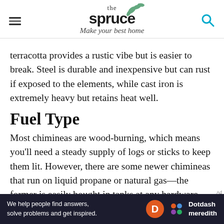the spruce — Make your best home
terracotta provides a rustic vibe but is easier to break. Steel is durable and inexpensive but can rust if exposed to the elements, while cast iron is extremely heavy but retains heat well.
Fuel Type
Most chimineas are wood-burning, which means you'll need a steady supply of logs or sticks to keep them lit. However, there are some newer chimineas that run on liquid propane or natural gas—the former is easily bought in tanks at any hardware store, while the latter requires a
[Figure (logo): Dotdash Meredith advertisement banner at bottom of page with text 'We help people find answers, solve problems and get inspired.' and Dotdash Meredith logo]